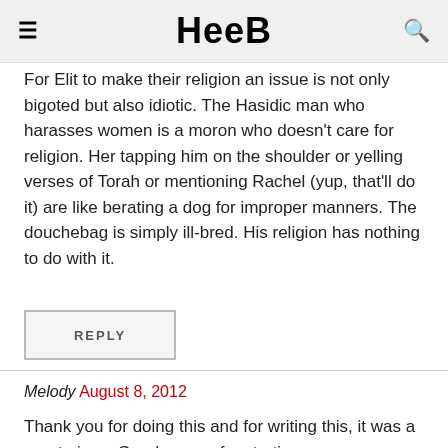HEEB
For Elit to make their religion an issue is not only bigoted but also idiotic. The Hasidic man who harasses women is a moron who doesn't care for religion. Her tapping him on the shoulder or yelling verses of Torah or mentioning Rachel (yup, that'll do it) are like berating a dog for improper manners. The douchebag is simply ill-bred. His religion has nothing to do with it.
REPLY
Melody August 8, 2012
Thank you for doing this and for writing this, it was a great piece. Good on you for starting up a conversation with these men and challenging their beliefs as to what is an acceptable way to treat women. I admire and respect you for that. Keep fighting the good fight...